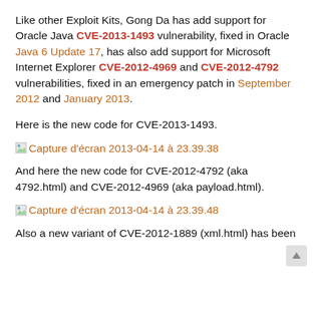Like other Exploit Kits, Gong Da has add support for Oracle Java CVE-2013-1493 vulnerability, fixed in Oracle Java 6 Update 17, has also add support for Microsoft Internet Explorer CVE-2012-4969 and CVE-2012-4792 vulnerabilities, fixed in an emergency patch in September 2012 and January 2013.
Here is the new code for CVE-2013-1493.
[Figure (screenshot): Link placeholder image icon followed by orange hyperlink text: Capture d’écran 2013-04-14 à 23.39.38]
And here the new code for CVE-2012-4792 (aka 4792.html) and CVE-2012-4969 (aka payload.html).
[Figure (screenshot): Link placeholder image icon followed by orange hyperlink text: Capture d’écran 2013-04-14 à 23.39.48]
Also a new variant of CVE-2012-1889 (xml.html) has been